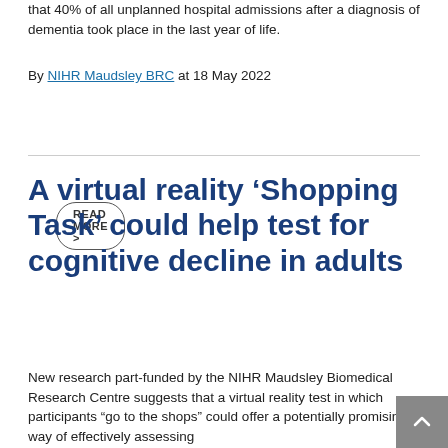that 40% of all unplanned hospital admissions after a diagnosis of dementia took place in the last year of life.
By NIHR Maudsley BRC at 18 May 2022
READ MORE >
A virtual reality ‘Shopping Task’ could help test for cognitive decline in adults
New research part-funded by the NIHR Maudsley Biomedical Research Centre suggests that a virtual reality test in which participants “go to the shops” could offer a potentially promising way of effectively assessing